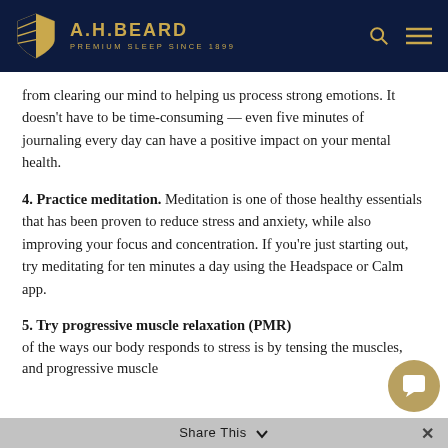A.H.BEARD PREMIUM SLEEP SINCE 1899
from clearing our mind to helping us process strong emotions. It doesn't have to be time-consuming — even five minutes of journaling every day can have a positive impact on your mental health.
4. Practice meditation. Meditation is one of those healthy essentials that has been proven to reduce stress and anxiety, while also improving your focus and concentration. If you're just starting out, try meditating for ten minutes a day using the Headspace or Calm app.
5. Try progressive muscle relaxation (PMR)
of the ways our body responds to stress is by tensing the muscles, and progressive muscle